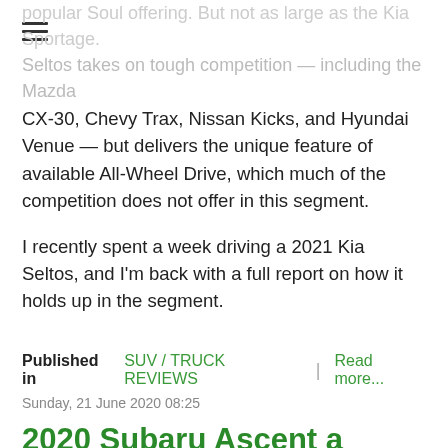popular Soul offering. But not as large as the Kia Sportage. Seltos takes on tough competition — including the Mazda CX-30, Chevy Trax, Nissan Kicks, and Hyundai Venue — but delivers the unique feature of available All-Wheel Drive, which much of the competition does not offer in this segment.

I recently spent a week driving a 2021 Kia Seltos, and I'm back with a full report on how it holds up in the segment.
Published in  SUV / TRUCK REVIEWS  |  Read more...
Sunday, 21 June 2020 08:25
2020 Subaru Ascent a promising upstart among 3-row SUVs
[Figure (photo): Partial view of a car exterior with red/pink tones surrounded by greenery]